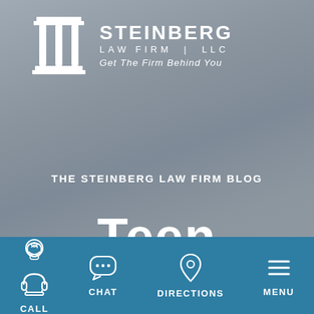[Figure (logo): Steinberg Law Firm LLC logo with classical columns icon and text: STEINBERG LAW FIRM | LLC, Get The Firm Behind You]
THE STEINBERG LAW FIRM BLOG
Teen
[Figure (infographic): Teal bottom navigation bar with four icons and labels: CALL (telephone icon), CHAT (speech bubble icon), DIRECTIONS (map pin icon), MENU (hamburger menu icon)]